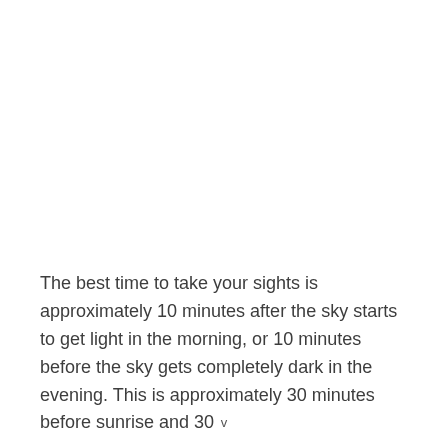The best time to take your sights is approximately 10 minutes after the sky starts to get light in the morning, or 10 minutes before the sky gets completely dark in the evening. This is approximately 30 minutes before sunrise and 30
v